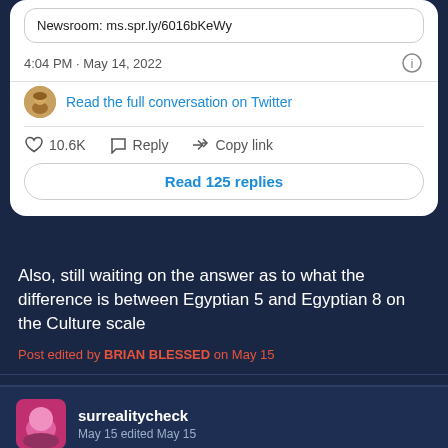Newsroom: ms.spr.ly/6016bKeWy
4:04 PM · May 14, 2022
Read the full conversation on Twitter
♡ 10.6K   Reply   Copy link
Read 125 replies
Also, still waiting on the answer as to what the difference is between Egyptian 5 and Egyptian 8 on the Culture scale
Post edited by BRIAN BLESSED on May 15
surrealitycheck
May 15 edited May 15
ancient vs modern